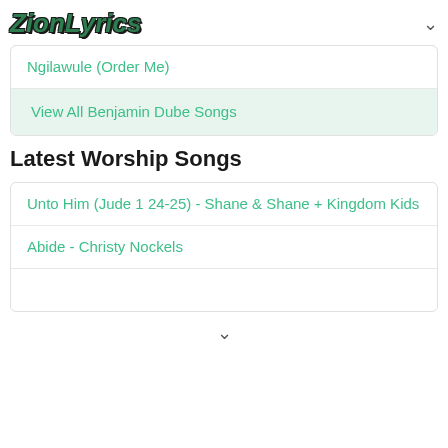ZionLyrics
Ngilawule (Order Me)
View All Benjamin Dube Songs
Latest Worship Songs
Unto Him (Jude 1 24-25) - Shane & Shane + Kingdom Kids
Abide - Christy Nockels
∨